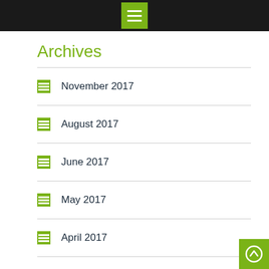Menu icon header bar
Archives
November 2017
August 2017
June 2017
May 2017
April 2017
March 2017
February 2017
January 2017